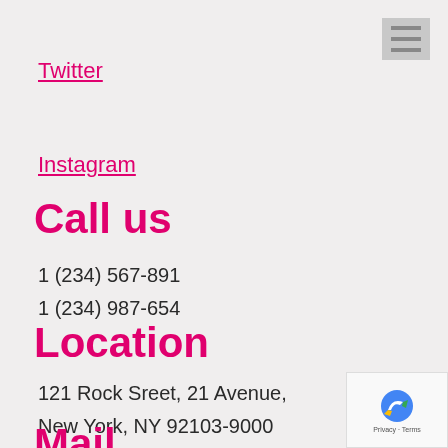[Figure (other): Hamburger menu icon, three horizontal grey lines on grey background, top right corner]
Twitter
Instagram
Call us
1 (234) 567-891
1 (234) 987-654
Location
121 Rock Sreet, 21 Avenue,
New York, NY 92103-9000
Mail
[Figure (other): Google reCAPTCHA badge with blue arrow logo and Privacy-Terms text]